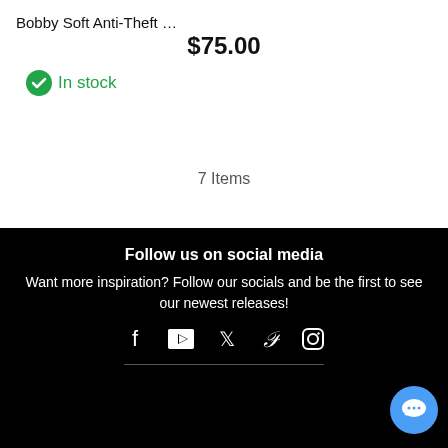Bobby Soft Anti-Theft …
$75.00
✔ In stock
7 Items
Follow us on social media
Want more inspiration? Follow our socials and be the first to see our newest releases!
[Figure (infographic): Social media icons: Facebook, YouTube, Twitter, Pinterest, Instagram]
[Figure (infographic): Blue circular chat button with speech bubble icon]